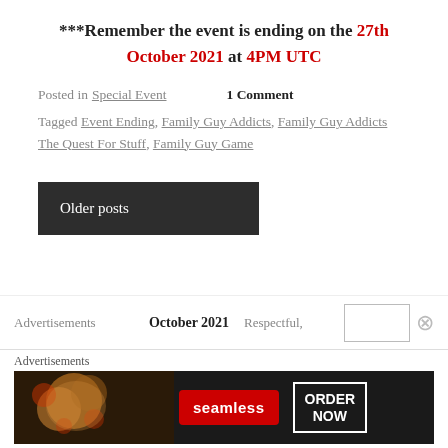***Remember the event is ending on the 27th October 2021 at 4PM UTC
Posted in Special Event    1 Comment
Tagged Event Ending, Family Guy Addicts, Family Guy Addicts The Quest For Stuff, Family Guy Game
Older posts
Advertisements   October 2021   Respectful,
[Figure (screenshot): Seamless food delivery advertisement banner with pizza image, seamless logo, and ORDER NOW button]